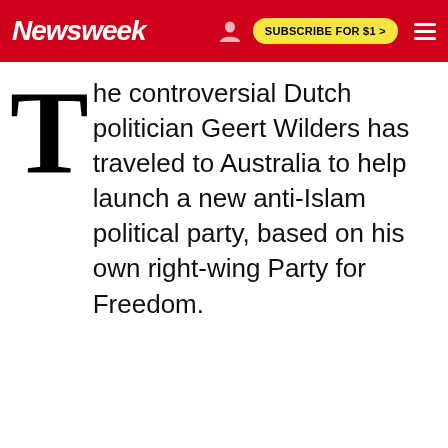Newsweek | SUBSCRIBE FOR $1 >
The controversial Dutch politician Geert Wilders has traveled to Australia to help launch a new anti-Islam political party, based on his own right-wing Party for Freedom.